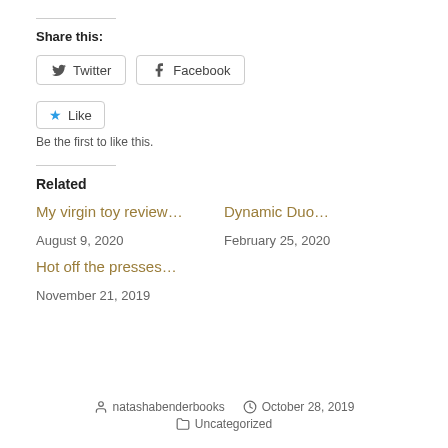Share this:
Twitter  Facebook
Like  Be the first to like this.
Related
My virgin toy review...
August 9, 2020
Dynamic Duo...
February 25, 2020
Hot off the presses...
November 21, 2019
natashabenderbooks   October 28, 2019   Uncategorized